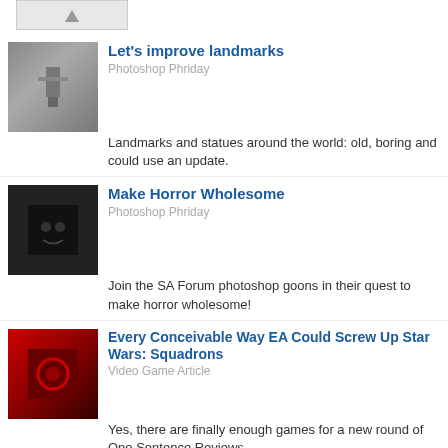[Figure (photo): Partial thumbnail image at top of page, clipped]
Let's improve landmarks
Photoshop Phriday
Landmarks and statues around the world: old, boring and could use an update.
[Figure (photo): Dark themed horror image thumbnail]
Make Horror Wholesome
Photoshop Phriday
Join the SA Forum photoshop goons in their quest to make horror wholesome!
[Figure (photo): Star Wars themed red image thumbnail]
Every Conceivable Way EA Could Screw Up Star Wars: Squadrons
Video Game Article
Yes, there are finally enough games for a new round of One Sentence Reviews
About This Column
Something Awful reviews the latest films in a straightforward (for SA) manner.
Previous Articles
RoboCop; Winter's Tale; Vampire Academy; Vargo's Short Film Guide 2014
The Lego Movie; The Monuments Men; Best Night Ever